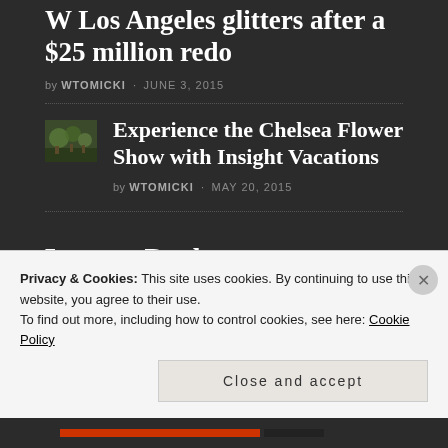W Los Angeles glitters after a $25 million redo
by WTOMICKI · JUNE 3, 2015
[Figure (photo): Small thumbnail image of garden/flowers]
Experience the Chelsea Flower Show with Insight Vacations
by WTOMICKI · MAY 20, 2015
Leave a Reply
Privacy & Cookies: This site uses cookies. By continuing to use this website, you agree to their use.
To find out more, including how to control cookies, see here: Cookie Policy
Close and accept